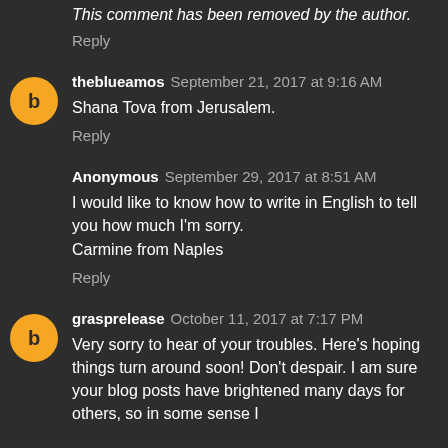This comment has been removed by the author.
Reply
theblueamos  September 21, 2017 at 9:16 AM
Shana Tova from Jerusalem.
Reply
Anonymous  September 29, 2017 at 8:51 AM
I would like to know how to write in English to tell you how much I'm sorry.
Carmine from Naples
Reply
grasprelease  October 11, 2017 at 7:17 PM
Very sorry to hear of your troubles. Here's hoping things turn around soon! Don't despair. I am sure your blog posts have brightened many days for others, so in some sense I